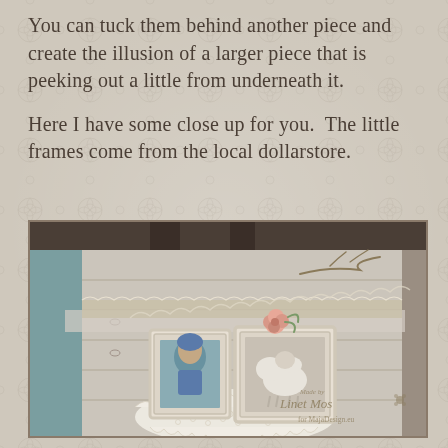You can tuck them behind another piece and create the illusion of a larger piece that is peeking out a little from underneath it.
Here I have some close up for you.  The little frames come from the local dollarstore.
[Figure (photo): Close-up photo of a shabby chic scrapbook layout featuring two small white distressed picture frames on a whitewashed wood plank background, decorated with lace doily, burlap ribbon, and a pink rose. One frame contains a photo of a child in a blue hat. A watermark reads 'Made by Linet Mos for MajaDesign.eu'.]